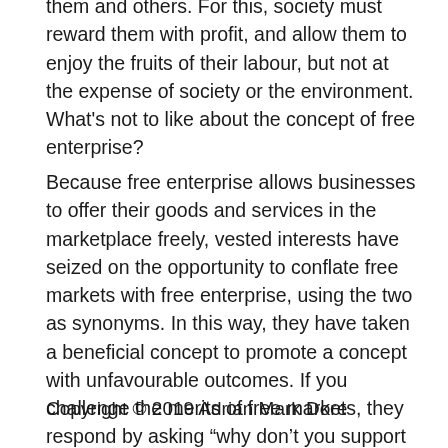them and others. For this, society must reward them with profit, and allow them to enjoy the fruits of their labour, but not at the expense of society or the environment. What's not to like about the concept of free enterprise?
Because free enterprise allows businesses to offer their goods and services in the marketplace freely, vested interests have seized on the opportunity to conflate free markets with free enterprise, using the two as synonyms. In this way, they have taken a beneficial concept to promote a concept with unfavourable outcomes. If you challenge the merits of free markets, they respond by asking “why don’t you support free enterprise?” And so, they confuse and spread their poison. Just by conflating a few simple terms, they are able to mislead the majority – frightening.
Copyright © 2019 Adrian Mark Dore